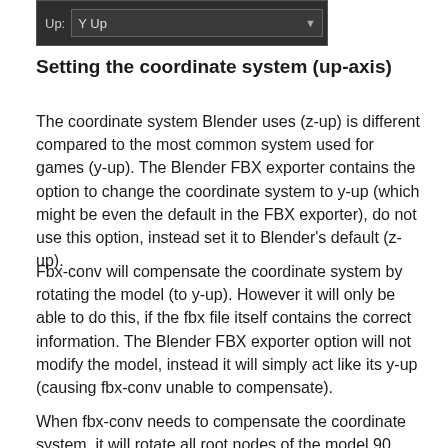[Figure (screenshot): UI screenshot showing a dropdown labeled 'Up:' with the value 'Y Up' selected, dark themed interface]
Setting the coordinate system (up-axis)
The coordinate system Blender uses (z-up) is different compared to the most common system used for games (y-up). The Blender FBX exporter contains the option to change the coordinate system to y-up (which might be even the default in the FBX exporter), do not use this option, instead set it to Blender’s default (z-up).
Fbx-conv will compensate the coordinate system by rotating the model (to y-up). However it will only be able to do this, if the fbx file itself contains the correct information. The Blender FBX exporter option will not modify the model, instead it will simply act like its y-up (causing fbx-conv unable to compensate).
When fbx-conv needs to compensate the coordinate system, it will rotate all root nodes of the model 90...